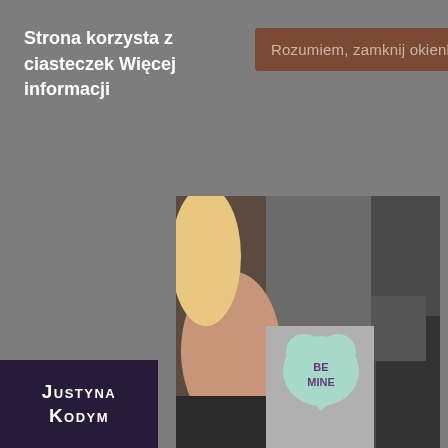Strona korzysta z ciasteczek Więcej informacji
Rozumiem, zamknij okienko.
[Figure (photo): Two people facing away from each other with a mint green heart candy in between reading 'BE MINE']
illas-condo-phuquoc.vn/dating-online-service-for-50+/no-sign-up-seniors-dating-online-services.pdf">Senior Online Dating Site In Florida Korean Senior Dating Online Services Iranian Senior Dating Online Website Mature Online Dating Site Truly Free Seniors Online Dating Website No Fee Utah Asian Mature Online Dating Site Where To Meet Singles In Denver Free No Charge